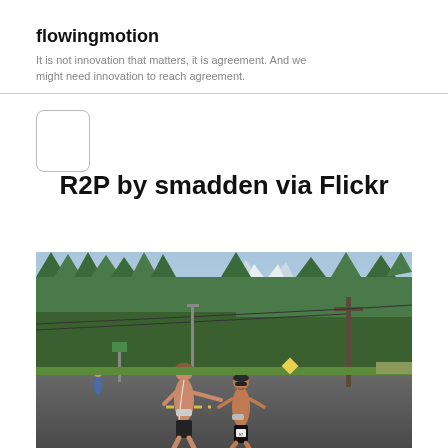flowingmotion
It is not innovation that matters, it is agreement. And we might need innovation to reach agreement.
R2P by smadden via Flickr
[Figure (photo): Two shirtless male runners on a road, one facing away with arm extended toward the other who is running toward him. Background shows tall evergreen trees, utility poles, a mountain with snow in the distance, and an overcast sky. Rural road setting.]